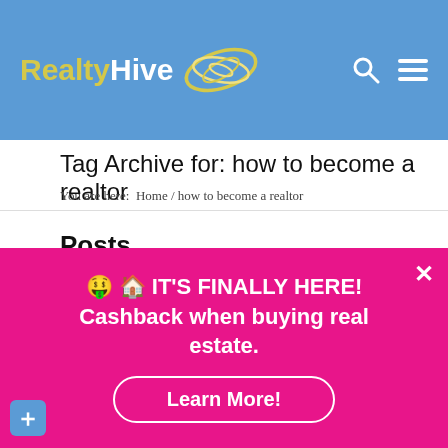RealtyHive
Tag Archive for: how to become a realtor
You are here:  Home / how to become a realtor
Posts
This website stores cookies on your computer. These cookies are used to collect information about how you interact with our website and allow us to remember you. We use this information in order to improve and customize your browsing experience and for analytics and metrics about our visitors both on
🤑 🏠 IT'S FINALLY HERE!
Cashback when buying real estate.
Learn More!